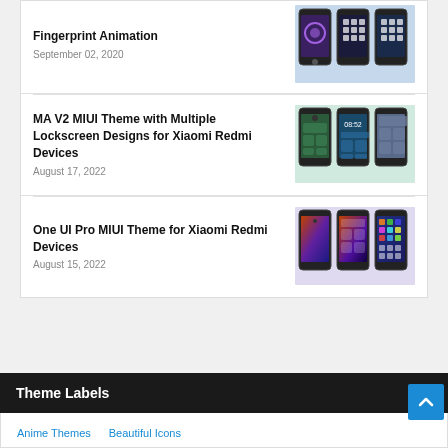Fingerprint Animation
September 02, 2020
[Figure (screenshot): Three smartphone screens showing fingerprint animation UI for MIUI]
MA V2 MIUI Theme with Multiple Lockscreen Designs for Xiaomi Redmi Devices
August 17, 2022
[Figure (screenshot): Three smartphone screens showing MA V2 MIUI theme with lockscreen and home screen designs]
One UI Pro MIUI Theme for Xiaomi Redmi Devices
August 15, 2022
[Figure (screenshot): Three smartphone screens showing One UI Pro MIUI theme with colorful wallpapers]
Theme Labels
Anime Themes
Beautiful Icons